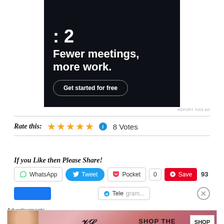[Figure (screenshot): Advertisement banner with dark background showing text ': 2', 'Fewer meetings, more work.' and a 'Get started for free' button]
REPORT THIS AD
Rate this: ★★★★★ ℹ 8 Votes
If you Like then Please Share!
WhatsApp  Tweet  Pocket  0  Save  93
Advertisements
[Figure (screenshot): Victoria's Secret advertisement banner showing a model, VS logo, 'SHOP THE COLLECTION', and 'SHOP NOW' button]